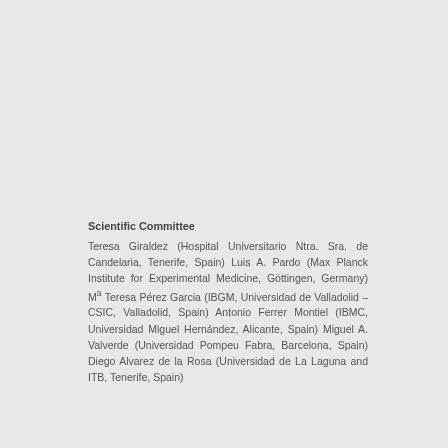Scientific Committee
Teresa Giraldez (Hospital Universitario Ntra. Sra. de Candelaria, Tenerife, Spain) Luis A. Pardo (Max Planck Institute for Experimental Medicine, Göttingen, Germany) Mª Teresa Pérez Garcia (IBGM, Universidad de Valladolid – CSIC, Valladolid, Spain) Antonio Ferrer Montiel (IBMC, Universidad Miguel Hernández, Alicante, Spain) Miguel A. Valverde (Universidad Pompeu Fabra, Barcelona, Spain) Diego Alvarez de la Rosa (Universidad de La Laguna and ITB, Tenerife, Spain)